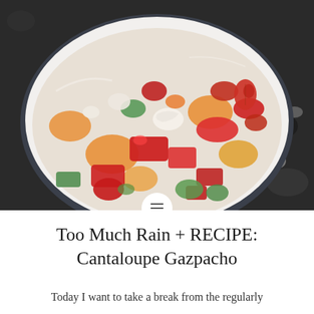[Figure (photo): A white ceramic bowl filled with colorful chopped vegetables and fruits including cantaloupe, red bell peppers, strawberries, cucumber, tomatoes, and onions — ingredients for a cantaloupe gazpacho. The bowl sits on a dark granite or stone surface.]
Too Much Rain + RECIPE: Cantaloupe Gazpacho
Today I want to take a break from the regularly